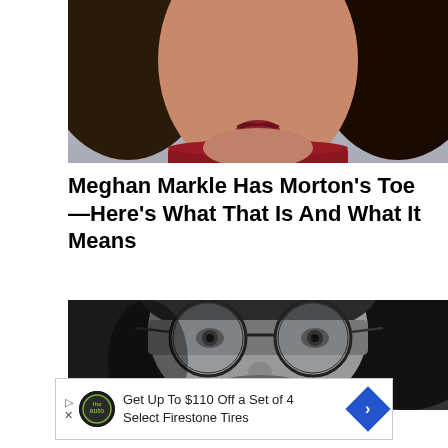[Figure (photo): Close-up photo of a woman's face with dark hair, red lips, and a red/burgundy turtleneck sweater against a light background.]
Meghan Markle Has Morton's Toe—Here's What That Is And What It Means
[Figure (photo): Black and white close-up photo of a young man with long dark hair, round wire-rimmed glasses, and stubble beard.]
Get Up To $110 Off a Set of 4 Select Firestone Tires